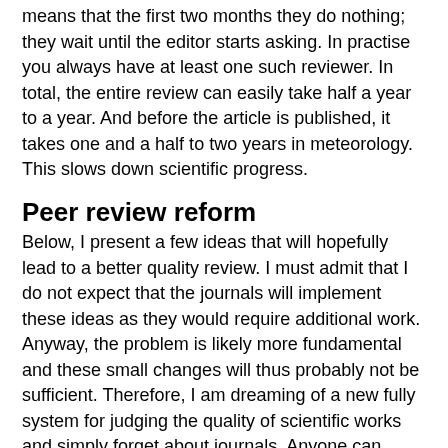means that the first two months they do nothing; they wait until the editor starts asking. In practise you always have at least one such reviewer. In total, the entire review can easily take half a year to a year. And before the article is published, it takes one and a half to two years in meteorology. This slows down scientific progress.
Peer review reform
Below, I present a few ideas that will hopefully lead to a better quality review. I must admit that I do not expect that the journals will implement these ideas as they would require additional work. Anyway, the problem is likely more fundamental and these small changes will thus probably not be sufficient. Therefore, I am dreaming of a new fully system for judging the quality of scientific works and simply forget about journals. Anyone can publish his work in this internet age, the only thing we need is the ability to trust articles on subjects where we are not specialists. Thus, we need to build networks of trust, which social networking site do very well nowadays.
Editorial policy